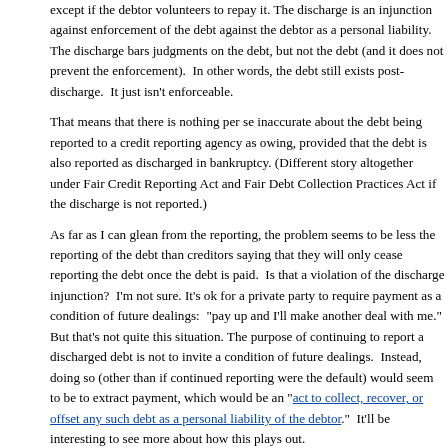except if the debtor volunteers to repay it. The discharge is an injunction against enforcement of the debt against the debtor as a personal liability. The discharge bars judgments on the debt, but not the debt (and it does not prevent the enforcement). In other words, the debt still exists post-discharge. It just isn't enforceable.
That means that there is nothing per se inaccurate about the debt being reported to a credit reporting agency as owing, provided that the debt is also reported as discharged in bankruptcy. (Different story altogether under Fair Credit Reporting Act and Fair Debt Collection Practices Act if the discharge is not reported.)
As far as I can glean from the reporting, the problem seems to be less the reporting of the debt than creditors saying that they will only cease reporting the debt once the debt is paid. Is that a violation of the discharge injunction? I'm not sure. It's ok for a private party to require payment as a condition of future dealings: "pay up and I'll make another deal with me." But that's not quite this situation. The purpose of continuing to report a discharged debt is not to invite a condition of future dealings. Instead, doing so (other than if continued reporting were the default) would seem to be to extract payment, which would be an "act to collect, recover, or offset any such debt as a personal liability of the debtor." It'll be interesting to see more about how this plays out.
November 13, 2014 at 4:26 PM in Debt Collection
[Figure (other): Social media sharing icons: Twitter, Facebook, Email, LinkedIn, More]
Comments